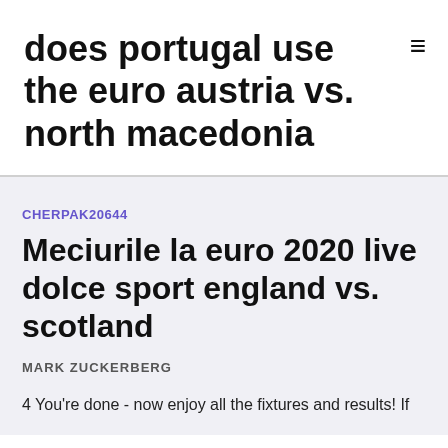does portugal use the euro austria vs. north macedonia
CHERPAK20644
Meciurile la euro 2020 live dolce sport england vs. scotland
MARK ZUCKERBERG
4 You're done - now enjoy all the fixtures and results! If